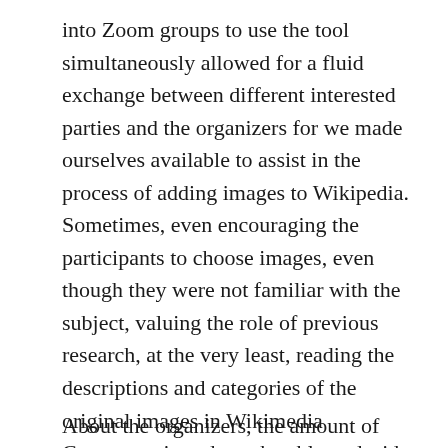into Zoom groups to use the tool simultaneously allowed for a fluid exchange between different interested parties and the organizers for we made ourselves available to assist in the process of adding images to Wikipedia. Sometimes, even encouraging the participants to choose images, even though they were not familiar with the subject, valuing the role of previous research, at the very least, reading the descriptions and categories of the original images in Wikimedia Commons, in order to be able to decide their relevance in the suggested articles. I think this empowered many people who felt they “did’t know” or “couldn’t,” discovering an easy-to-use tool with which to apply their criteria, driven by the theoretical content shared by Cora.
About the organizers, the amount of combining...